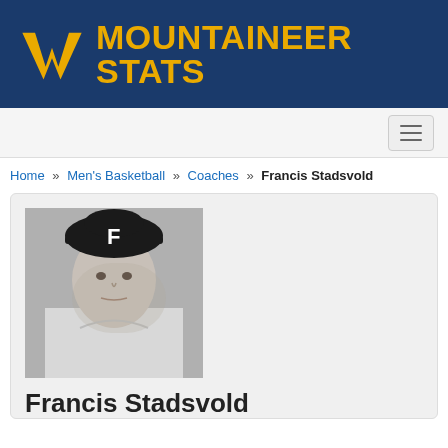MOUNTAINEER STATS
Home » Men's Basketball » Coaches » Francis Stadsvold
[Figure (photo): Black and white photo of Francis Stadsvold wearing a dark cap with the letter F on it]
Francis Stadsvold